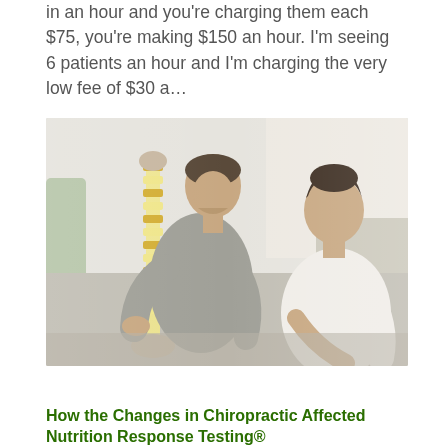in an hour and you're charging them each $75, you're making $150 an hour. I'm seeing 6 patients an hour and I'm charging the very low fee of $30 a...
[Figure (photo): A male chiropractor in a grey polo shirt holds a spine anatomical model and examines it with a female patient in a white tank top leaning over in a clinical setting.]
How the Changes in Chiropractic Affected Nutrition Response Testing®